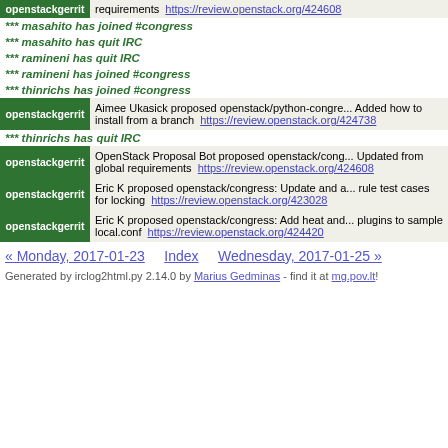requirements  https://review.openstack.org/424608
*** masahito has joined #congress
*** masahito has quit IRC
*** ramineni has quit IRC
*** ramineni has joined #congress
*** thinrichs has joined #congress
openstackgerrit  Aimee Ukasick proposed openstack/python-congre... Added how to install from a branch  https://review.openstack.org/424738
*** thinrichs has quit IRC
openstackgerrit  OpenStack Proposal Bot proposed openstack/cong... Updated from global requirements  https://review.openstack.org/424608
openstackgerrit  Eric K proposed openstack/congress: Update and a... rule test cases for locking  https://review.openstack.org/423028
openstackgerrit  Eric K proposed openstack/congress: Add heat and... plugins to sample local.conf  https://review.openstack.org/424420
« Monday, 2017-01-23    Index    Wednesday, 2017-01-25 »
Generated by irclog2html.py 2.14.0 by Marius Gedminas - find it at mg.pov.lt!